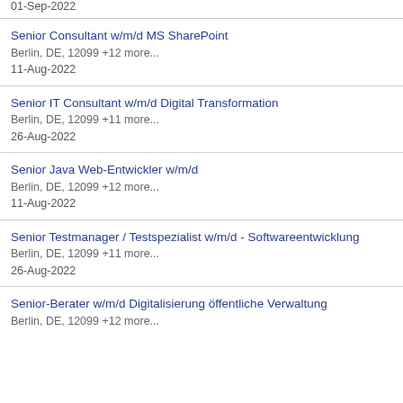01-Sep-2022
Senior Consultant w/m/d MS SharePoint
Berlin, DE, 12099 +12 more...
11-Aug-2022
Senior IT Consultant w/m/d Digital Transformation
Berlin, DE, 12099 +11 more...
26-Aug-2022
Senior Java Web-Entwickler w/m/d
Berlin, DE, 12099 +12 more...
11-Aug-2022
Senior Testmanager / Testspezialist w/m/d - Softwareentwicklung
Berlin, DE, 12099 +11 more...
26-Aug-2022
Senior-Berater w/m/d Digitalisierung öffentliche Verwaltung
Berlin, DE, 12099 +12 more...